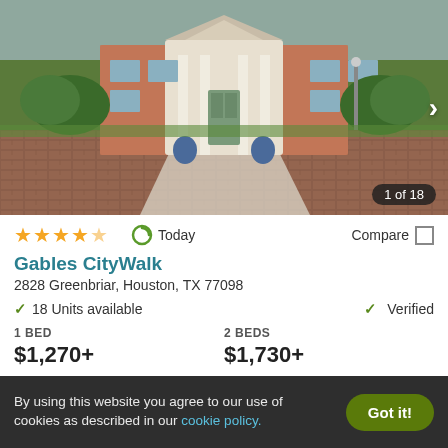[Figure (photo): Exterior photo of Gables CityWalk apartment building, a brick building with white columns and landscaped entrance, with image counter showing 1 of 18]
★★★★★ Today Compare □
Gables CityWalk
2828 Greenbriar, Houston, TX 77098
✓ 18 Units available   ✓ Verified
1 BED
$1,270+

2 BEDS
$1,730+
View Details  Contact Property
By using this website you agree to our use of cookies as described in our cookie policy.